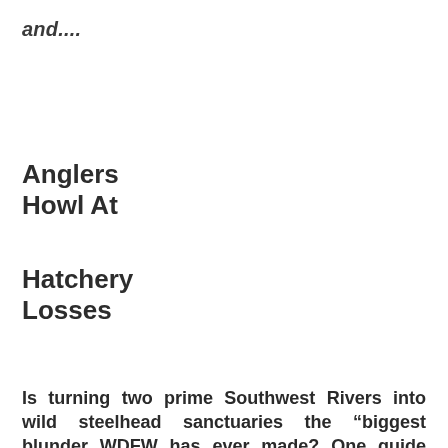and....
Anglers
Howl At
Hatchery
Losses
Is turning two prime Southwest Rivers into wild steelhead sanctuaries the “biggest blunder WDFW has ever made? One guide thinks so and he has supporters